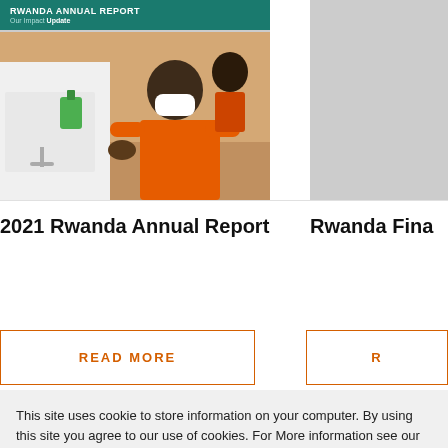[Figure (photo): Photo of a person wearing an orange shirt and white face mask washing hands at a white handwashing station outdoors, with a green soap dispenser visible. The photo has a teal header bar reading 'RWANDA ANNUAL REPORT' and 'Our Impact Update'.]
2021 Rwanda Annual Report
Rwanda Fina
READ MORE
R
This site uses cookie to store information on your computer. By using this site you agree to our use of cookies. For More information see our Privacy Policy.
DENY
ACCEPT